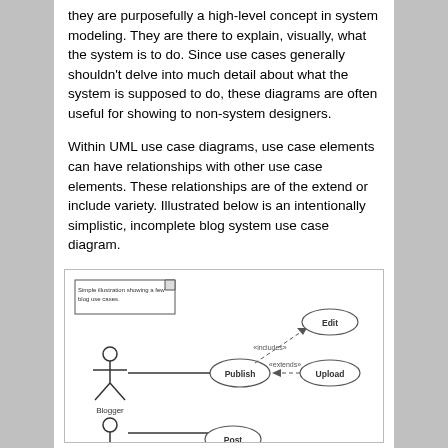they are purposefully a high-level concept in system modeling. They are there to explain, visually, what the system is to do. Since use cases generally shouldn't delve into much detail about what the system is supposed to do, these diagrams are often useful for showing to non-system designers.
Within UML use case diagrams, use case elements can have relationships with other use case elements. These relationships are of the extend or include variety. Illustrated below is an intentionally simplistic, incomplete blog system use case diagram.
[Figure (engineering-diagram): A UML use case diagram showing a blog system. A stick figure labeled 'Blogger' is connected by a line to an oval labeled 'Publish'. From 'Publish', a dashed arrow labeled '«includes»' points to an oval labeled 'Edit'. Another dashed arrow labeled '«extends»' points right to an oval labeled 'Upload'. A note box in the top-left reads 'Simple illustration showing a few blog use cases.' At the bottom, another partial stick figure and oval labeled 'Post' are visible.]